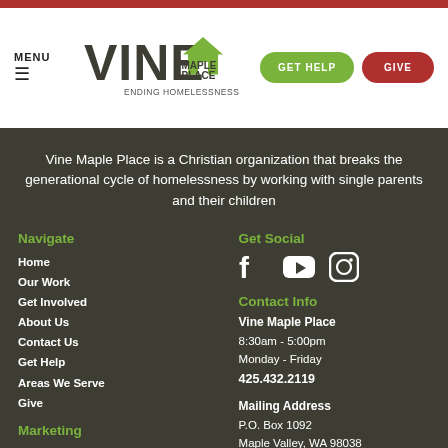VINE Maple Place - Ending Homelessness
Vine Maple Place is a Christian organization that breaks the generational cycle of homelessness by working with single parents and their children
Navigate
Home
Our Work
Get Involved
About Us
Contact Us
Get Help
Areas We Serve
Give
Marketing
Newsletter Signup
Supported by
Get Social
Contact Info
Vine Maple Place
8:30am - 5:00pm
Monday - Friday
425.432.2119
Mailing Address
P.O. Box 1092
Maple Valley, WA 98038